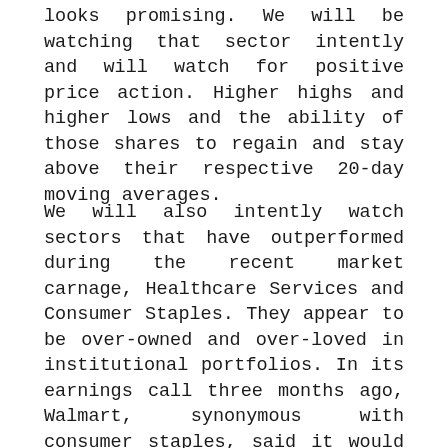looks promising. We will be watching that sector intently and will watch for positive price action. Higher highs and higher lows and the ability of those shares to regain and stay above their respective 20-day moving averages.
We will also intently watch sectors that have outperformed during the recent market carnage, Healthcare Services and Consumer Staples. They appear to be over-owned and over-loved in institutional portfolios. In its earnings call three months ago, Walmart, synonymous with consumer staples, said it would do its best to lower prices for its shoppers. They did exactly that, much to the benefit of the company's shoppers. Investors pounded the stock after its earnings release on Tuesday as it missed on earnings and margins and gave downbeat guidance. That drop was indicative